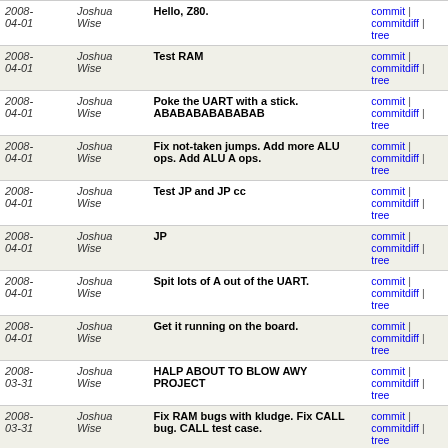| Date | Author | Message | Links |
| --- | --- | --- | --- |
| 2008-04-01 | Joshua Wise | Hello, Z80. | commit | commitdiff | tree |
| 2008-04-01 | Joshua Wise | Test RAM | commit | commitdiff | tree |
| 2008-04-01 | Joshua Wise | Poke the UART with a stick. ABABABABABABAB | commit | commitdiff | tree |
| 2008-04-01 | Joshua Wise | Fix not-taken jumps. Add more ALU ops. Add ALU A ops. | commit | commitdiff | tree |
| 2008-04-01 | Joshua Wise | Test JP and JP cc | commit | commitdiff | tree |
| 2008-04-01 | Joshua Wise | JP | commit | commitdiff | tree |
| 2008-04-01 | Joshua Wise | Spit lots of A out of the UART. | commit | commitdiff | tree |
| 2008-04-01 | Joshua Wise | Get it running on the board. | commit | commitdiff | tree |
| 2008-03-31 | Joshua Wise | HALP ABOUT TO BLOW AWY PROJECT | commit | commitdiff | tree |
| 2008-03-31 | Joshua Wise | Fix RAM bugs with kludge. Fix CALL bug. CALL test case. | commit | commitdiff | tree |
| 2008-03-31 | Joshua Wise | Add CALL (untested) and ROM and internal RAM | commit | commitdiff | tree |
| 2008-03-31 | Joshua Wise | Fix part of the indentation tragedy. | commit | commitdiff | tree |
| 2008-03-31 | Joshua Wise | Add RET/IRET. Fix a bug in RST where the PC pushed... | commit | commitdiff | tree |
| 2008- | Joshua Wise | RST insn | commit | commitdiff |